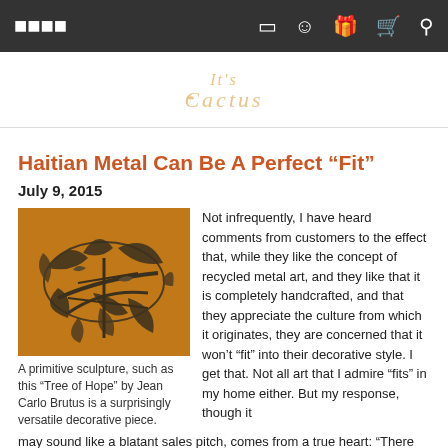Navigation bar with menu, bookmark, person, gift, cart, and search icons
[Figure (logo): It's Cactus logo in decorative golden/cream lettering]
Haitian Metal Can Be A Perfect “Fit”
July 9, 2015
[Figure (photo): A primitive metal sculpture on an orange background showing birds and leaves, Tree of Hope by Jean Carlo Brutus]
A primitive sculpture, such as this “Tree of Hope” by Jean Carlo Brutus is a surprisingly versatile decorative piece.
Not infrequently, I have heard comments from customers to the effect that, while they like the concept of recycled metal art, and they like that it is completely handcrafted, and that they appreciate the culture from which it originates, they are concerned that it won’t “fit” into their decorative style. I get that. Not all art that I admire “fits” in my home either. But my response, though it may sound like a blatant sales pitch, comes from a true heart: “There are so many styles and themes within this art form, I bet